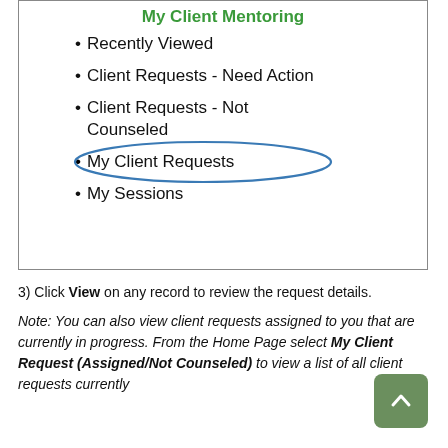[Figure (screenshot): Screenshot of My Client Mentoring menu showing list items: Recently Viewed, Client Requests - Need Action, Client Requests - Not Counseled, My Client Requests (circled in blue oval), My Sessions]
Recently Viewed
Client Requests - Need Action
Client Requests - Not Counseled
My Client Requests
My Sessions
3) Click View on any record to review the request details.
Note: You can also view client requests assigned to you that are currently in progress. From the Home Page select My Client Request (Assigned/Not Counseled) to view a list of all client requests currently